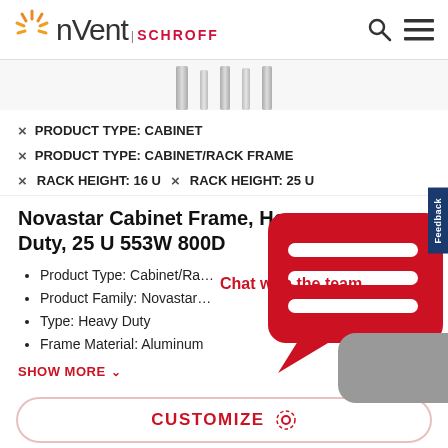[Figure (logo): nVent SCHROFF logo with sunburst icon and search/menu icons in header]
[Figure (illustration): Rack cabinet bars/columns visible in background behind filter tags]
× PRODUCT TYPE: CABINET
× PRODUCT TYPE: CABINET/RACK FRAME
× RACK HEIGHT: 16 U   × RACK HEIGHT: 25 U
Novastar Cabinet Frame, Heavy-Duty, 25 U 553W 800D
Product Type: Cabinet/Ra…
Product Family: Novastar…
Type: Heavy Duty
Frame Material: Aluminum
SHOW MORE ∨
[Figure (illustration): Red chat bubble feedback overlay with message icon and grey secondary bubble]
CUSTOMIZE ⚙